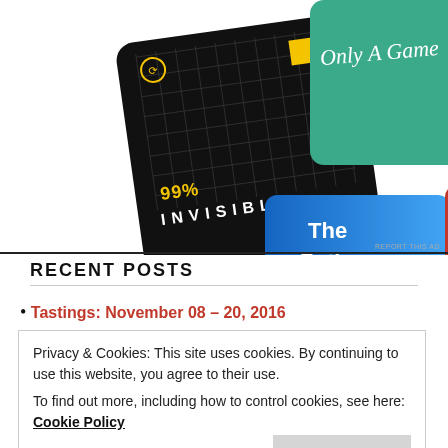[Figure (illustration): Collage of podcast cover art: 99% Invisible (black grid with yellow square), Only A Game (teal background with script text), The Daily (blue gradient), This American Life (red background, partial text)]
REPORT THIS AD
RECENT POSTS
Tastings: November 08 – 20, 2016
Privacy & Cookies: This site uses cookies. By continuing to use this website, you agree to their use.
To find out more, including how to control cookies, see here: Cookie Policy
Close and accept